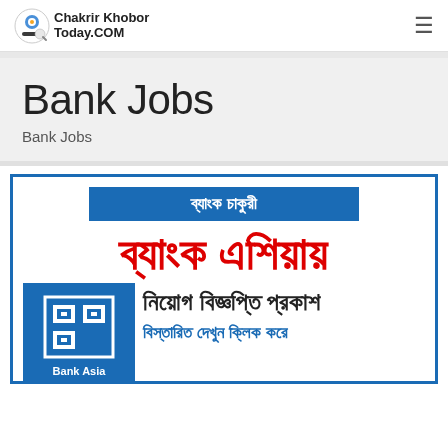Chakrir Khobor Today.COM
Bank Jobs
Bank Jobs
[Figure (infographic): Bank Asia job advertisement image in Bengali. Blue bordered card with blue banner reading 'ব্যাংক চাকুরী', large red Bengali text 'ব্যাংক এশিয়ায়', Bank Asia logo in blue square, Bengali text 'নিয়োগ বিজ্ঞপ্তি প্রকাশ' and blue text 'বিস্তারিত দেখুন ক্লিক করে']